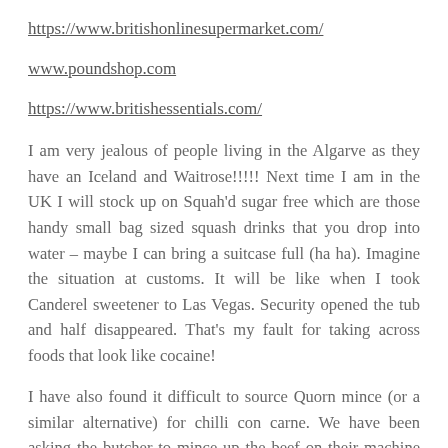https://www.britishonlinesupermarket.com/
www.poundshop.com
https://www.britishessentials.com/
I am very jealous of people living in the Algarve as they have an Iceland and Waitrose!!!!! Next time I am in the UK I will stock up on Squah'd sugar free which are those handy small bag sized squash drinks that you drop into water – maybe I can bring a suitcase full (ha ha). Imagine the situation at customs. It will be like when I took Canderel sweetener to Las Vegas. Security opened the tub and half disappeared. That's my fault for taking across foods that look like cocaine!
I have also found it difficult to source Quorn mince (or a similar alternative) for chilli con carne. We have been asking the butcher to mince up the beef on their machine (they do look at us as if we are weirdos) and